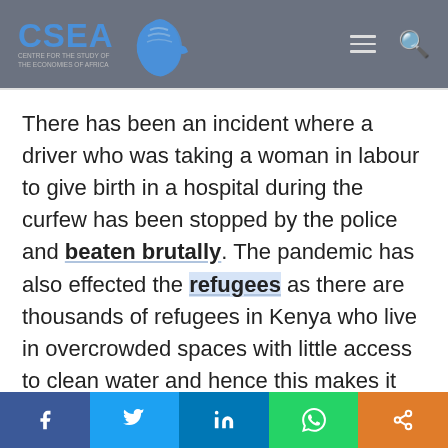CSEA - Centre for the Study of the Economies of Africa
There has been an incident where a driver who was taking a woman in labour to give birth in a hospital during the curfew has been stopped by the police and beaten brutally. The pandemic has also effected the refugees as there are thousands of refugees in Kenya who live in overcrowded spaces with little access to clean water and hence this makes it very difficult for refugees to practice social distancing and
Share on Facebook | Share on Twitter | Share on LinkedIn | Share on WhatsApp | Share